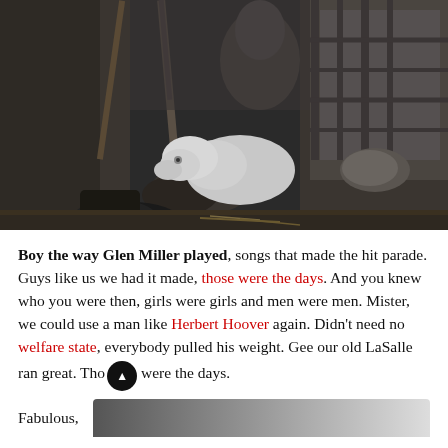[Figure (photo): Black and white photograph of soldiers and a dog resting in a trench. A white dog lies on the ground near soldiers' boots and legs. A rifle is visible leaning against the trench wall. The scene appears to be from World War I or II.]
Boy the way Glen Miller played, songs that made the hit parade. Guys like us we had it made, those were the days. And you knew who you were then, girls were girls and men were men. Mister, we could use a man like Herbert Hoover again. Didn't need no welfare state, everybody pulled his weight. Gee our old LaSalle ran great. Those were the days.
Fabulous,